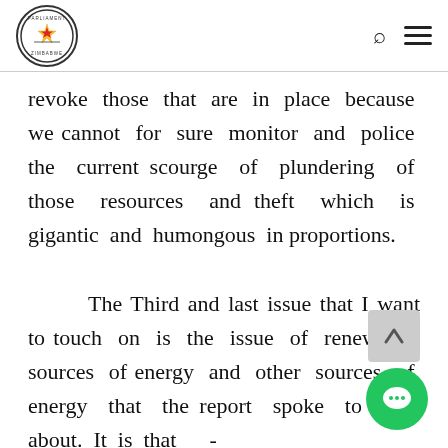Parliament of Zimbabwe logo, search icon, menu icon
revoke those that are in place because we cannot for sure monitor and police the current scourge of plundering of those resources and theft which is gigantic and humongous in proportions.

The Third and last issue that I want to touch on is the issue of renewable sources of energy and other sources of energy that the report spoke to and about. It is that bio-digesting. There is natural flow of human waste